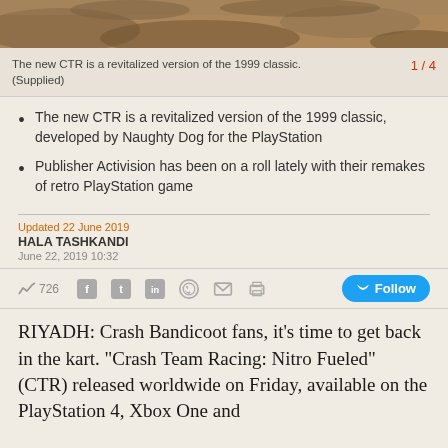[Figure (photo): Top portion of a photograph showing rocky terrain in warm brown tones]
The new CTR is a revitalized version of the 1999 classic. (Supplied) 1 / 4
The new CTR is a revitalized version of the 1999 classic, developed by Naughty Dog for the PlayStation
Publisher Activision has been on a roll lately with their remakes of retro PlayStation game
Updated 22 June 2019
HALA TASHKANDI
June 22, 2019 10:32
[Figure (infographic): Social sharing bar with trending count 726, Facebook, Twitter, LinkedIn, WhatsApp, email, print icons, and a Twitter Follow button]
RIYADH: Crash Bandicoot fans, it's time to get back in the kart. "Crash Team Racing: Nitro Fueled" (CTR) released worldwide on Friday, available on the PlayStation 4, Xbox One and